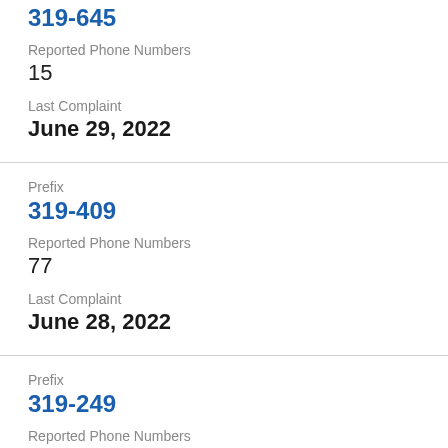319-645
Reported Phone Numbers
15
Last Complaint
June 29, 2022
Prefix
319-409
Reported Phone Numbers
77
Last Complaint
June 28, 2022
Prefix
319-249
Reported Phone Numbers